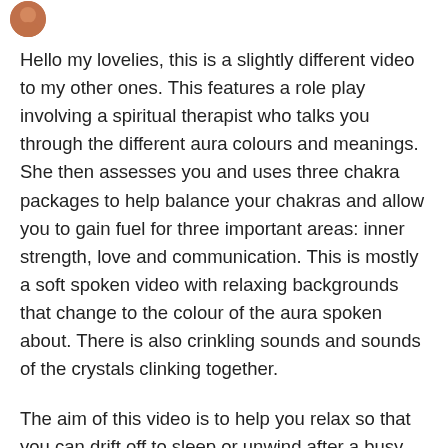[Figure (photo): Small circular avatar photo of a person, partially visible at top left]
Hello my lovelies, this is a slightly different video to my other ones. This features a role play involving a spiritual therapist who talks you through the different aura colours and meanings. She then assesses you and uses three chakra packages to help balance your chakras and allow you to gain fuel for three important areas: inner strength, love and communication. This is mostly a soft spoken video with relaxing backgrounds that change to the colour of the aura spoken about. There is also crinkling sounds and sounds of the crystals clinking together.
The aim of this video is to help you relax so that you can drift off to sleep or unwind after a busy day.
I had lots of fun making this video as it was a